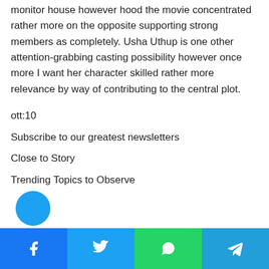monitor house however hood the movie concentrated rather more on the opposite supporting strong members as completely. Usha Uthup is one other attention-grabbing casting possibility however once more I want her character skilled rather more relevance by way of contributing to the central plot.
ott:10
Subscribe to our greatest newsletters
Close to Story
Trending Topics to Observe
[Figure (other): Social share buttons bar at bottom: Facebook (blue), Twitter (cyan/blue), WhatsApp (green), Telegram (blue)]